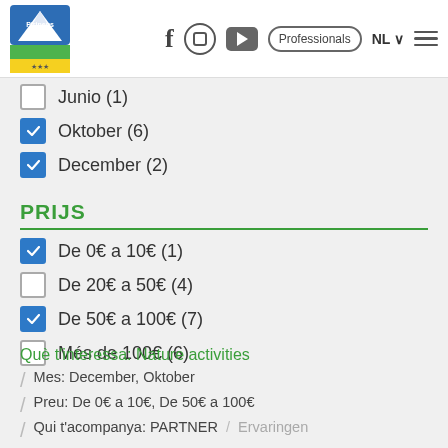Pirineus logo | Facebook | Instagram | YouTube | Professionals | NL | Menu
Junio (1) [unchecked]
Oktober (6) [checked]
December (2) [checked]
PRIJS
De 0€ a 10€ (1) [checked]
De 20€ a 50€ (4) [unchecked]
De 50€ a 100€ (7) [checked]
Més de 100€ (6) [unchecked]
Què t'interessa: Nature activities
Mes: December, Oktober
Preu: De 0€ a 10€, De 50€ a 100€
Qui t'acompanya: PARTNER / Ervaringen